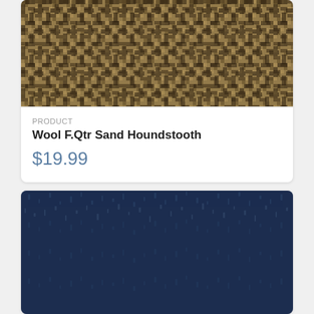[Figure (photo): Close-up texture of wool fabric in sand houndstooth pattern — tan and dark brown woven herringbone/houndstooth design]
PRODUCT
Wool F.Qtr Sand Houndstooth
$19.99
[Figure (photo): Close-up texture of wool fabric in solid dark navy blue color with subtle texture variations]